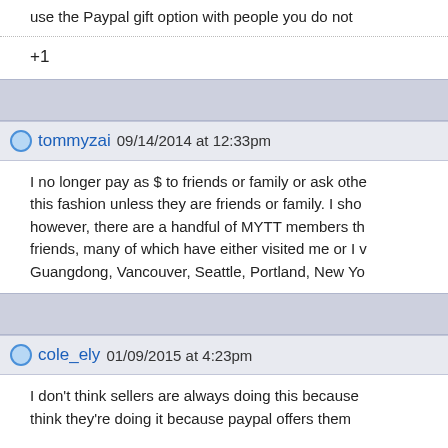use the Paypal gift option with people you do not
+1
tommyzai 09/14/2014 at 12:33pm
I no longer pay as $ to friends or family or ask othe this fashion unless they are friends or family. I sho however, there are a handful of MYTT members th friends, many of which have either visited me or I v Guangdong, Vancouver, Seattle, Portland, New Yo
cole_ely 01/09/2015 at 4:23pm
I don't think sellers are always doing this because think they're doing it because paypal offers them